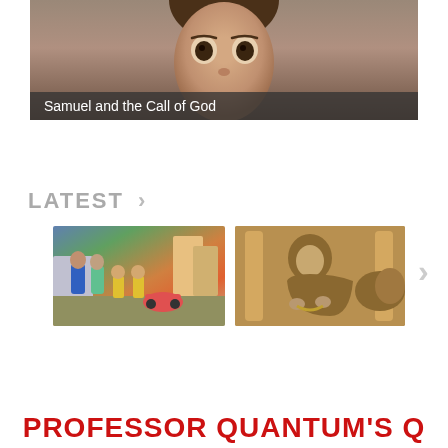[Figure (illustration): Animated 3D character close-up face with large brown eyes and brown hair, semi-realistic CGI style. Caption overlay reads 'Samuel and the Call of God'.]
Samuel and the Call of God
LATEST >
[Figure (illustration): Thumbnail 1: Animated 3D characters - a family group with adults and children standing outside near a colorful car and modern buildings.]
[Figure (illustration): Thumbnail 2: Animated 3D character of an elderly woman in brown robe, appearing to be in a temple or ancient setting.]
PROFESSOR QUANTUM'S Q